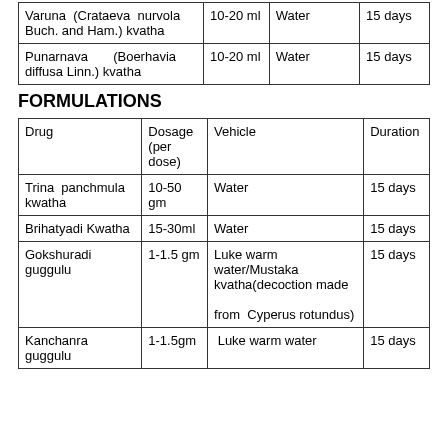| Varuna (Crataeva nurvola Buch. and Ham.) kvatha | 10-20 ml | Water | 15 days |
| Punarnava (Boerhavia diffusa Linn.) kvatha | 10-20 ml | Water | 15 days |
FORMULATIONS
| Drug | Dosage (per dose) | Vehicle | Duration |
| --- | --- | --- | --- |
| Trina panchmula kwatha | 10-50 gm | Water | 15 days |
| Brihatyadi Kwatha | 15-30ml | Water | 15 days |
| Gokshuradi guggulu | 1-1.5 gm | Luke warm water/Mustaka kvatha(decoction made from  Cyperus rotundus) | 15 days |
| Kanchanra guggulu | 1-1.5gm | Luke warm water | 15 days |